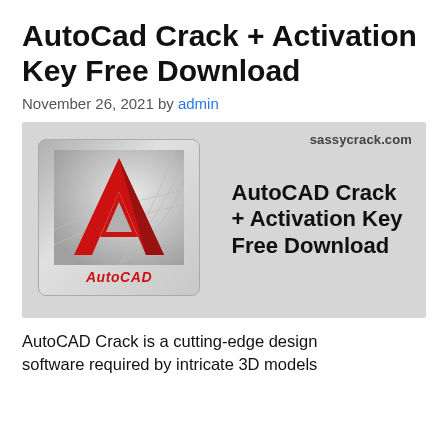AutoCad Crack + Activation Key Free Download
November 26, 2021 by admin
[Figure (illustration): AutoCAD promotional banner on grey background with AutoCAD logo (red 'A' icon) on the left and bold text 'AutoCAD Crack + Activation Key Free Download' on the right, watermark 'sassycrack.com' in upper right corner.]
AutoCAD Crack is a cutting-edge design software required by intricate 3D models